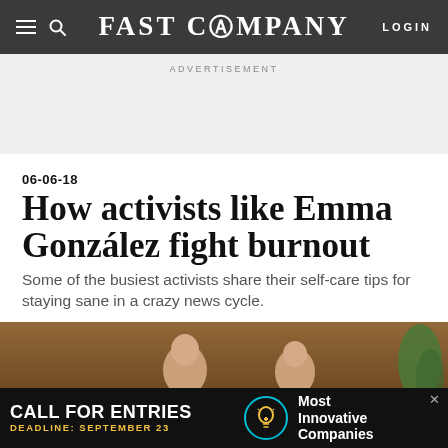FAST COMPANY | LOGIN
ADVERTISEMENT
06-06-18
How activists like Emma González fight burnout
Some of the busiest activists share their self-care tips for staying sane in a crazy news cycle.
[Figure (photo): Two young women seated, one with shaved head, in front of a wood-paneled background with a plant visible at right edge.]
CALL FOR ENTRIES DEADLINE: SEPTEMBER 23 Most Innovative Companies